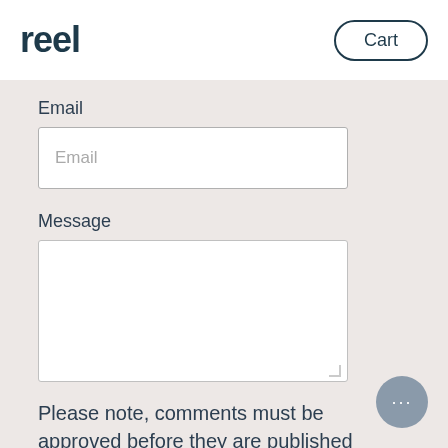[Figure (logo): reel brand logo in dark teal/navy color]
Cart
Email
Email
Message
Please note, comments must be approved before they are published
POST COMMENT